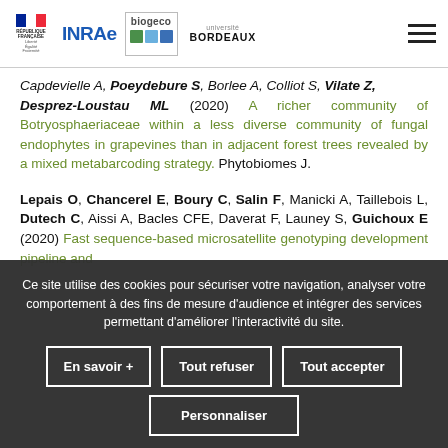INRAE / biogeco / Université de Bordeaux logos and navigation
Capdevielle A, Poeydebure S, Borlee A, Colliot S, Vitale Z, Desprez-Loustau ML (2020) A richer community of Botryosphaeriaceae within a less diverse community of fungal endophytes in grapevines than in adjacent forest trees revealed by a mixed metabarcoding strategy. Phytobiomes J.
Lepais O, Chancerel E, Boury C, Salin F, Manicki A, Taillebois L, Dutech C, Aissi A, Bacles CFE, Daverat F, Launey S, Guichoux E (2020) Fast sequence-based microsatellite genotyping development pipeline and...
Ce site utilise des cookies pour sécuriser votre navigation, analyser votre comportement à des fins de mesure d'audience et intégrer des services permettant d'améliorer l'interactivité du site.